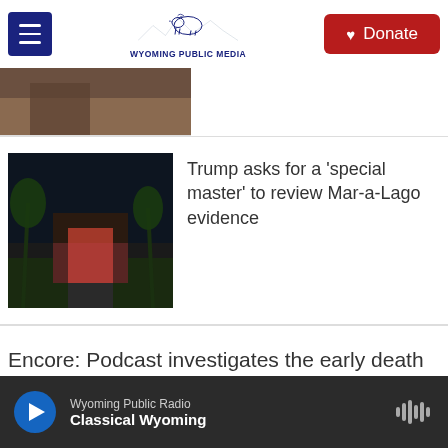Wyoming Public Media — Donate
[Figure (photo): Partial cropped photo at top of article listing]
Trump asks for a 'special master' to review Mar-a-Lago evidence
[Figure (photo): Night photo of Mar-a-Lago with palm trees lit in red/pink light]
Encore: Podcast investigates the early death of musician Chalino Sanchez
Wyoming Public Radio — Classical Wyoming